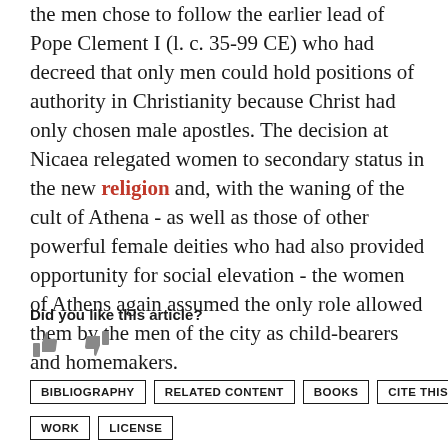the men chose to follow the earlier lead of Pope Clement I (l. c. 35-99 CE) who had decreed that only men could hold positions of authority in Christianity because Christ had only chosen male apostles. The decision at Nicaea relegated women to secondary status in the new religion and, with the waning of the cult of Athena - as well as those of other powerful female deities who had also provided opportunity for social elevation - the women of Athens again assumed the only role allowed them by the men of the city as child-bearers and homemakers.
Did you like this article?
[Figure (illustration): Thumbs up and thumbs down icons for article rating]
BIBLIOGRAPHY
RELATED CONTENT
BOOKS
CITE THIS
WORK
LICENSE